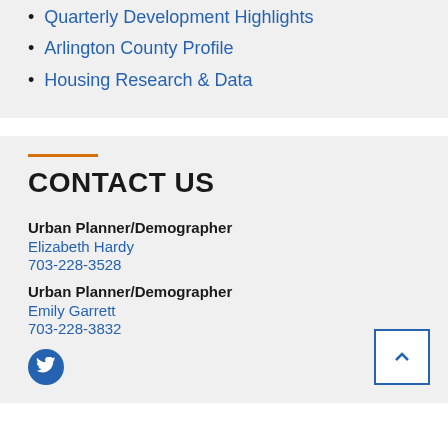Quarterly Development Highlights
Arlington County Profile
Housing Research & Data
CONTACT US
Urban Planner/Demographer
Elizabeth Hardy
703-228-3528
Urban Planner/Demographer
Emily Garrett
703-228-3832